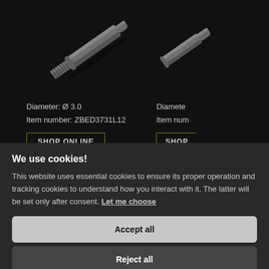[Figure (photo): Two industrial connector/shaft components shown diagonally on black background. Left component is fully visible (cylindrical with threaded/splined end). Right component is partially cropped.]
Diameter: Ø 3.0
Item number: ZBED3731L12
Diameter: [partial]
Item num[ber partial]
SHOP ONLINE
SHOP [partial]
We use cookies!
This website uses essential cookies to ensure its proper operation and tracking cookies to understand how you interact with it. The latter will be set only after consent. Let me choose
Accept all
Reject all